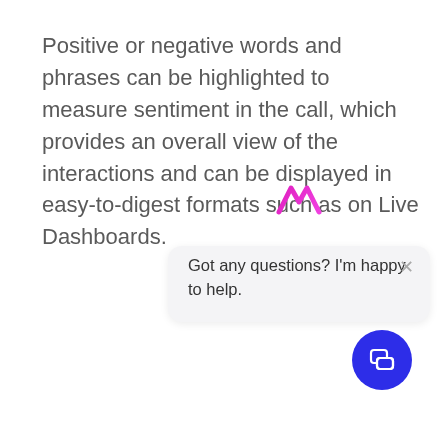Positive or negative words and phrases can be highlighted to measure sentiment in the call, which provides an overall view of the interactions and can be displayed in easy-to-digest formats such as on Live Dashboards.
[Figure (screenshot): Chat widget popup with a pink/magenta M-shaped logo icon at top center, an X close button in top right, and the message 'Got any questions? I'm happy to help.' below. A dark blue circular chat button with a speech bubble icon appears at bottom right.]